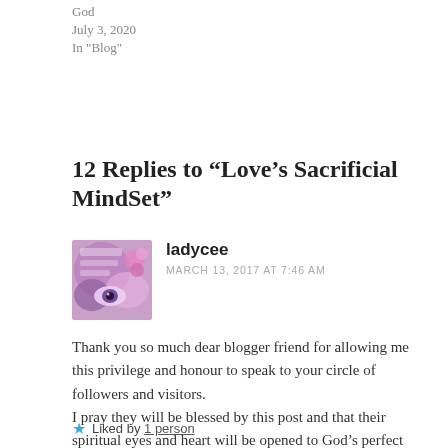God
July 3, 2020
In "Blog"
12 Replies to “Love’s Sacrificial MindSet”
ladycee
MARCH 13, 2017 AT 7:46 AM
Thank you so much dear blogger friend for allowing me this privilege and honour to speak to your circle of followers and visitors.
I pray they will be blessed by this post and that their spiritual eyes and heart will be opened to God’s perfect will for their lives.
Carol
Liked by 1 person